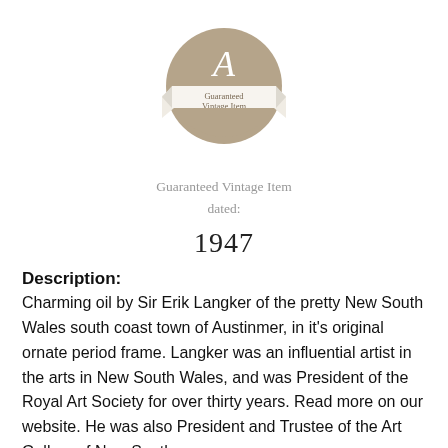[Figure (logo): Circular tan/khaki badge with letter A at top and a ribbon banner reading 'Guaranteed Vintage Item' across the middle]
Guaranteed Vintage Item
dated:
1947
Description:
Charming oil by Sir Erik Langker of the pretty New South Wales south coast town of Austinmer, in it's original ornate period frame. Langker was an influential artist in the arts in New South Wales, and was President of the Royal Art Society for over thirty years. Read more on our website. He was also President and Trustee of the Art Gallery of New South